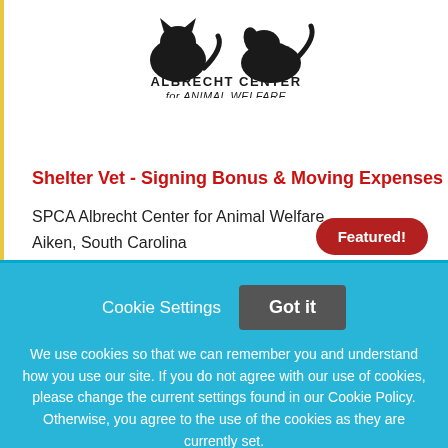[Figure (logo): Albrecht Center for Animal Welfare logo — silhouettes of a cat and dog above the text ALBRECHT CENTER for ANIMAL WELFARE]
Shelter Vet - Signing Bonus & Moving Expenses
SPCA Albrecht Center for Animal Welfare
Aiken, South Carolina
Featured!
Cookie Settings
Got it
We use cookies so that we can remember you and understand how you use our site. If you do not agree with our use of cookies, please change the current settings found in our Cookie Policy. Otherwise, you agree to the use of the cookies as they are currently set.